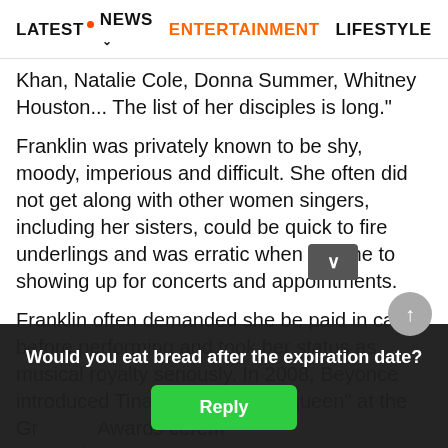LATEST · NEWS · ENTERTAINMENT · LIFESTYLE · EC>
Khan, Natalie Cole, Donna Summer, Whitney Houston... The list of her disciples is long."
Franklin was privately known to be shy, moody, imperious and difficult. She often did not get along with other women singers, including her sisters, could be quick to fire underlings and was erratic when it came to showing up for concerts and appointments.
Franklin often demanded she be paid in cash before performing and took her status as musical royalty seriously. In 2008, Beyonce introduced Tina Turner as "the queen" at the Grammy Awards ceremony and Franklin was not pleased, calling it a "cheap shot" at...
PREAC
Would you eat bread after the expiration date?
Reply